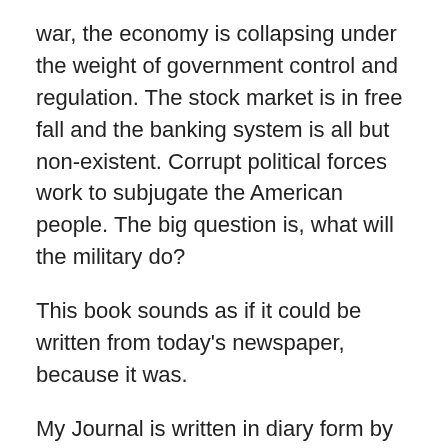war, the economy is collapsing under the weight of government control and regulation. The stock market is in free fall and the banking system is all but non-existent. Corrupt political forces work to subjugate the American people. The big question is, what will the military do?
This book sounds as if it could be written from today's newspaper, because it was.
My Journal is written in diary form by the man who lives it.
A.H. Trimble is a pen name and not the author's actual name. The author is a certified emergency manager, a U.S. Government employee currently serving in a federal land management agency as